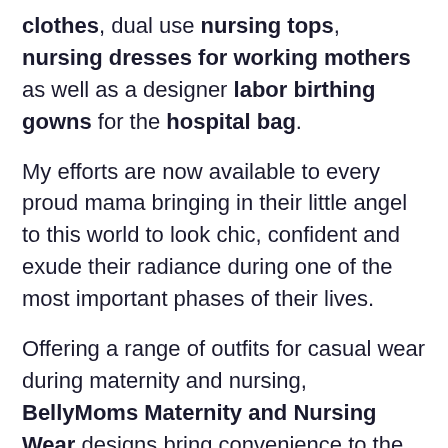clothes, dual use nursing tops, nursing dresses for working mothers as well as a designer labor birthing gowns for the hospital bag.
My efforts are now available to every proud mama bringing in their little angel to this world to look chic, confident and exude their radiance during one of the most important phases of their lives.
Offering a range of outfits for casual wear during maternity and nursing, BellyMoms Maternity and Nursing Wear designs bring convenience to the new mom. Whether your bump is still growing or you're in the full swing of breastfeeding, these pieces will have you enjoying this wonderful time in comfort and style
All our products are carefully designed for a